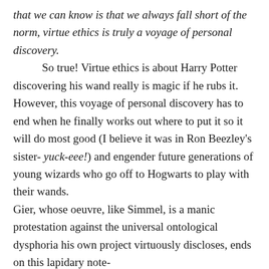that we can know is that we always fall short of the norm, virtue ethics is truly a voyage of personal discovery.
So true! Virtue ethics is about Harry Potter discovering his wand really is magic if he rubs it. However, this voyage of personal discovery has to end when he finally works out where to put it so it will do most good (I believe it was in Ron Beezley's sister- yuck-eee!) and engender future generations of young wizards who go off to Hogwarts to play with their wands.
Gier, whose oeuvre, like Simmel, is a manic protestation against the universal ontological dysphoria his own project virtuously discloses, ends on this lapidary note-
'Virtue ethics is emulative--using the sage or savior as a model for virtues, and on this view, because of it...